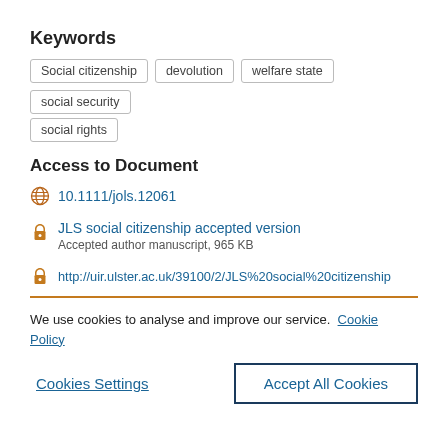Keywords
Social citizenship
devolution
welfare state
social security
social rights
Access to Document
10.1111/jols.12061
JLS social citizenship accepted version
Accepted author manuscript, 965 KB
http://uir.ulster.ac.uk/39100/2/JLS%20social%20citizenship
We use cookies to analyse and improve our service. Cookie Policy
Cookies Settings
Accept All Cookies